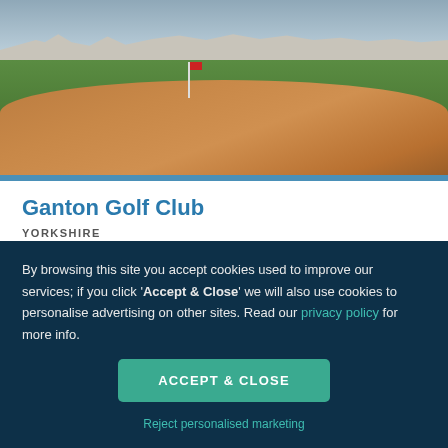[Figure (photo): Aerial/ground view of Ganton Golf Club course showing green fairway, sand bunker in foreground, and club buildings in background under overcast sky]
Ganton Golf Club
YORKSHIRE
★ Rated 10 by 2 golfers (Read reviews)
2 Nights, 3 Rounds
Bed and Breakfast
By browsing this site you accept cookies used to improve our services; if you click 'Accept & Close' we will also use cookies to personalise advertising on other sites. Read our privacy policy for more info.
ACCEPT & CLOSE
Reject personalised marketing